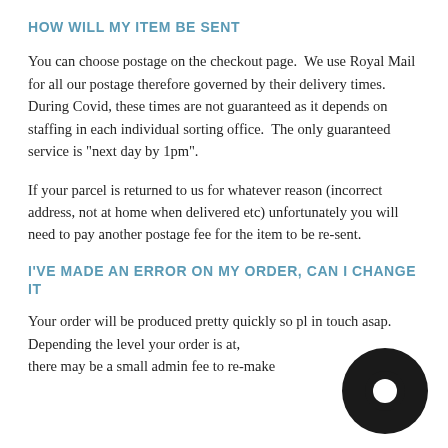HOW WILL MY ITEM BE SENT
You can choose postage on the checkout page.  We use Royal Mail for all our postage therefore governed by their delivery times. During Covid, these times are not guaranteed as it depends on staffing in each individual sorting office.  The only guaranteed service is "next day by 1pm".
If your parcel is returned to us for whatever reason (incorrect address, not at home when delivered etc) unfortunately you will need to pay another postage fee for the item to be re-sent.
I'VE MADE AN ERROR ON MY ORDER, CAN I CHANGE IT
Your order will be produced pretty quickly so pl in touch asap. Depending the level your order is at, there may be a small admin fee to re-make